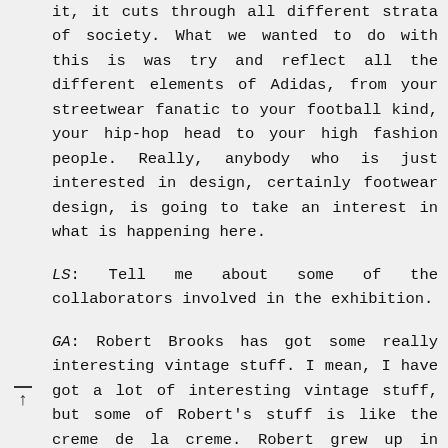it, it cuts through all different strata of society. What we wanted to do with this is was try and reflect all the different elements of Adidas, from your streetwear fanatic to your football kind, your hip-hop head to your high fashion people. Really, anybody who is just interested in design, certainly footwear design, is going to take an interest in what is happening here.
LS: Tell me about some of the collaborators involved in the exhibition.
GA: Robert Brooks has got some really interesting vintage stuff. I mean, I have got a lot of interesting vintage stuff, but some of Robert's stuff is like the creme de la creme. Robert grew up in London, he had a completely different background to mine... but there are so many parallels. He doesn't come at it from it from a hip-hop perspective, he doesn't come at it from a